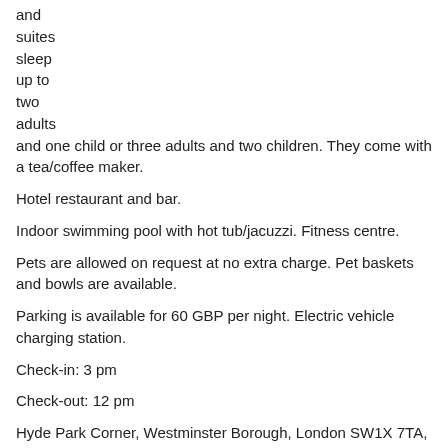and
suites
sleep
up to
two
adults
and one child or three adults and two children. They come with a tea/coffee maker.
Hotel restaurant and bar.
Indoor swimming pool with hot tub/jacuzzi. Fitness centre.
Pets are allowed on request at no extra charge. Pet baskets and bowls are available.
Parking is available for 60 GBP per night. Electric vehicle charging station.
Check-in: 3 pm
Check-out: 12 pm
Hyde Park Corner, Westminster Borough, London SW1X 7TA, United Kingdom